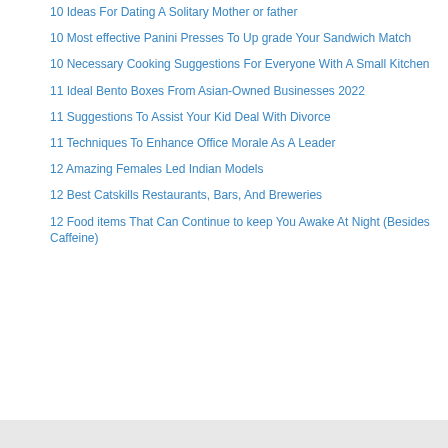10 Ideas For Dating A Solitary Mother or father
10 Most effective Panini Presses To Up grade Your Sandwich Match
10 Necessary Cooking Suggestions For Everyone With A Small Kitchen
11 Ideal Bento Boxes From Asian-Owned Businesses 2022
11 Suggestions To Assist Your Kid Deal With Divorce
11 Techniques To Enhance Office Morale As A Leader
12 Amazing Females Led Indian Models
12 Best Catskills Restaurants, Bars, And Breweries
12 Food items That Can Continue to keep You Awake At Night (Besides Caffeine)